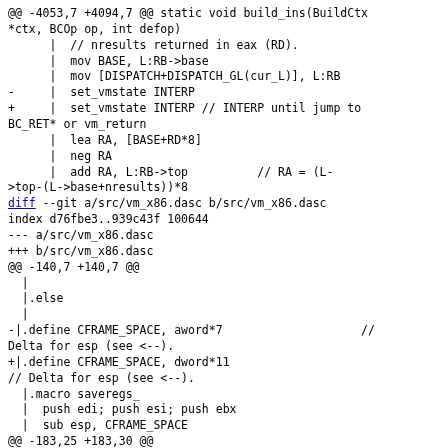@@ -4053,7 +4094,7 @@ static void build_ins(BuildCtx *ctx, BCOp op, int defop)
      |  // nresults returned in eax (RD).
      |  mov BASE, L:RB->base
      |  mov [DISPATCH+DISPATCH_GL(cur_L)], L:RB
-     |  set_vmstate INTERP
+     |  set_vmstate INTERP // INTERP until jump to BC_RET* or vm_return
      |  lea RA, [BASE+RD*8]
      |  neg RA
      |  add RA, L:RB->top          // RA = (L->top-(L->base+nresults))*8
diff --git a/src/vm_x86.dasc b/src/vm_x86.dasc
index d76fbe3..939c43f 100644
--- a/src/vm_x86.dasc
+++ b/src/vm_x86.dasc
@@ -140,7 +140,7 @@
  |
  |.else
  |
-|.define CFRAME_SPACE, aword*7                    // Delta for esp (see <--).
+|.define CFRAME_SPACE, dword*11                    // Delta for esp (see <--).
  |.macro saveregs_
  |  push edi; push esi; push ebx
  |  sub esp, CFRAME_SPACE
@@ -183,25 +183,30 @@
  |.define ARG1,       aword [esp]                //<-- esp while in interpreter.
  .;//   16-byte aligned. AAA arguments for C calle